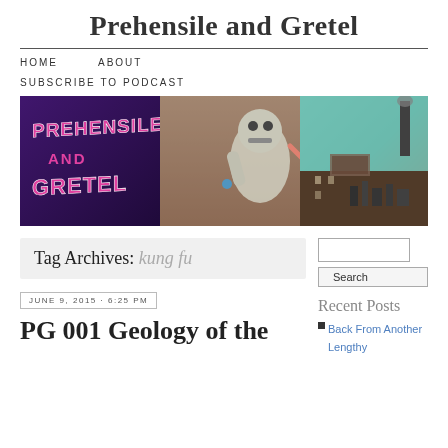Prehensile and Gretel
HOME    ABOUT
SUBSCRIBE TO PODCAST
[Figure (illustration): Prehensile and Gretel banner image showing a robot and a red-haired girl on a rooftop with stylized graffiti logo text]
Tag Archives: kung fu
JUNE 9, 2015 · 6:25 PM
PG 001 Geology of the
Recent Posts
Back From Another Lengthy